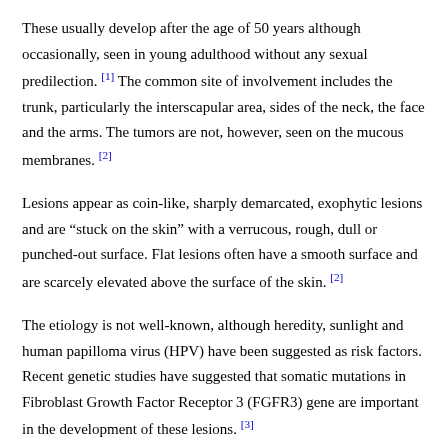These usually develop after the age of 50 years although occasionally, seen in young adulthood without any sexual predilection. [1] The common site of involvement includes the trunk, particularly the interscapular area, sides of the neck, the face and the arms. The tumors are not, however, seen on the mucous membranes. [2]
Lesions appear as coin-like, sharply demarcated, exophytic lesions and are "stuck on the skin" with a verrucous, rough, dull or punched-out surface. Flat lesions often have a smooth surface and are scarcely elevated above the surface of the skin. [2]
The etiology is not well-known, although heredity, sunlight and human papilloma virus (HPV) have been suggested as risk factors. Recent genetic studies have suggested that somatic mutations in Fibroblast Growth Factor Receptor 3 (FGFR3) gene are important in the development of these lesions. [3]
Although seborrheic keratosis is a commonly encountered lesion by the dermatologists, the dentist should be able to recognize and diagnose it when it presents in the head and neck region.